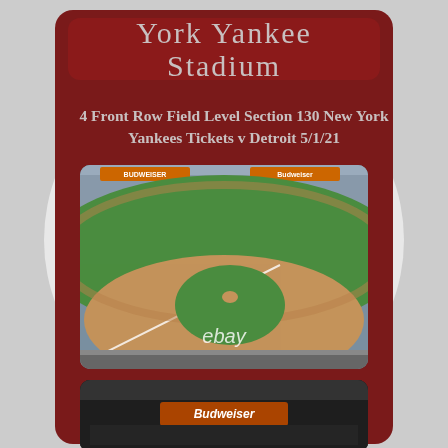York Yankee Stadium
4 Front Row Field Level Section 130 New York Yankees Tickets v Detroit 5/1/21
[Figure (photo): View from front row field level seats at Yankee Stadium showing the baseball field, infield dirt, outfield grass, and packed stadium seating in background. eBay watermark visible.]
[Figure (photo): Second photo showing interior of Yankee Stadium from elevated perspective with Budweiser sign visible, crowd in seats.]